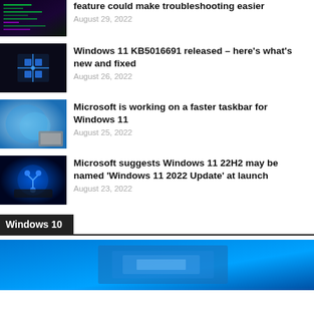[Figure (screenshot): Dark terminal/code screenshot thumbnail]
feature could make troubleshooting easier
August 29, 2022
[Figure (screenshot): Windows 11 dark screen with logo thumbnail]
Windows 11 KB5016691 released – here's what's new and fixed
August 26, 2022
[Figure (screenshot): Windows 11 laptop with blue wallpaper thumbnail]
Microsoft is working on a faster taskbar for Windows 11
August 25, 2022
[Figure (screenshot): Windows 11 device with blue logo thumbnail]
Microsoft suggests Windows 11 22H2 may be named 'Windows 11 2022 Update' at launch
August 23, 2022
Windows 10
[Figure (screenshot): Windows 10 desktop blue wallpaper large thumbnail]